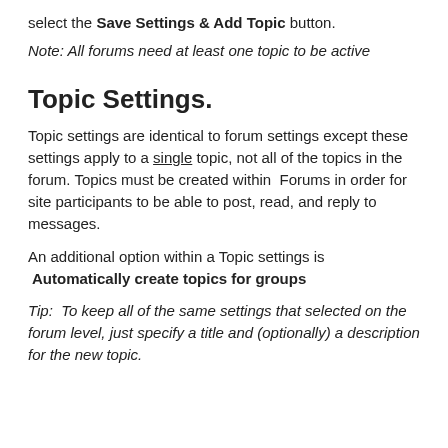select the Save Settings & Add Topic button.
Note: All forums need at least one topic to be active
Topic Settings.
Topic settings are identical to forum settings except these settings apply to a single topic, not all of the topics in the forum. Topics must be created within  Forums in order for site participants to be able to post, read, and reply to messages.
An additional option within a Topic settings is  Automatically create topics for groups
Tip:  To keep all of the same settings that selected on the forum level, just specify a title and (optionally) a description for the new topic.